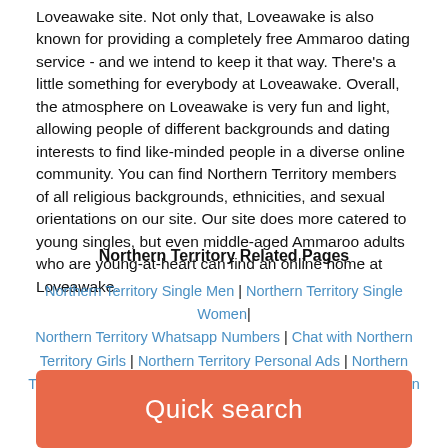Loveawake site. Not only that, Loveawake is also known for providing a completely free Ammaroo dating service - and we intend to keep it that way. There's a little something for everybody at Loveawake. Overall, the atmosphere on Loveawake is very fun and light, allowing people of different backgrounds and dating interests to find like-minded people in a diverse online community. You can find Northern Territory members of all religious backgrounds, ethnicities, and sexual orientations on our site. Our site does more catered to young singles, but even middle-aged Ammaroo adults who are young-at-heart can find an online home at Loveawake.
Northern Territory Related Pages
Northern Territory Single Men | Northern Territory Single Women| Northern Territory Whatsapp Numbers | Chat with Northern Territory Girls | Northern Territory Personal Ads | Northern Territory Craigslist Dating | Northern Territory BBW | Northern Territory Mature Singles
Quick search